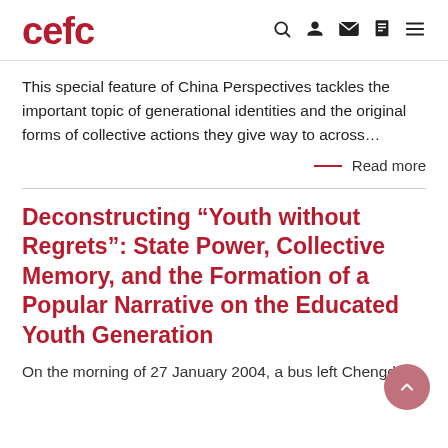cefc
This special feature of China Perspectives tackles the important topic of generational identities and the original forms of collective actions they give way to across...
— Read more
Deconstructing “Youth without Regrets”: State Power, Collective Memory, and the Formation of a Popular Narrative on the Educated Youth Generation
On the morning of 27 January 2004, a bus left Chengdu